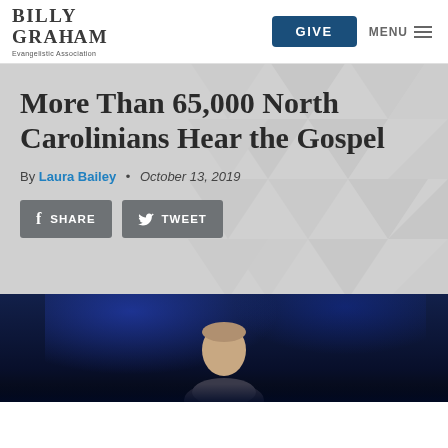[Figure (logo): Billy Graham Evangelistic Association logo — stylized serif text 'BILLY GRAHAM' with 'Evangelistic Association' subtitle]
More Than 65,000 North Carolinians Hear the Gospel
By Laura Bailey • October 13, 2019
[Figure (screenshot): Facebook SHARE and Twitter TWEET social share buttons]
[Figure (photo): Photo of a speaker on stage with blue stage lighting in the background, partially visible at the bottom of the page]